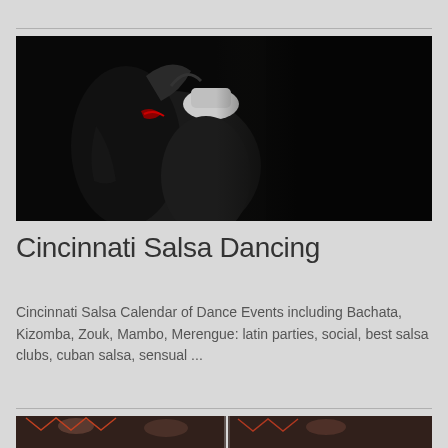[Figure (photo): Two salsa dancers in dark clothing against a black background, one wearing a white hat]
Cincinnati Salsa Dancing
Cincinnati Salsa Calendar of Dance Events including Bachata, Kizomba, Zouk, Mambo, Merengue: latin parties, social, best salsa clubs, cuban salsa, sensual ...
[Figure (photo): Partial photo of people dancing at a latin dance event, cropped at bottom of page]